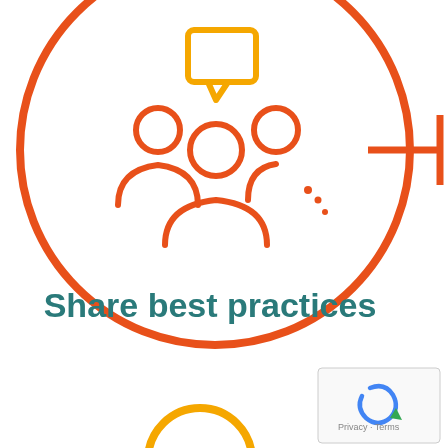[Figure (infographic): Orange circle outline containing an icon of three people (group/community icon) with a yellow speech/chat bubble above them. A horizontal orange arrow-like bracket extends from the right side of the circle. Below the icon is the text 'Share best practices' in teal/dark cyan bold font. At the bottom right is a partial reCAPTCHA badge. At the very bottom center is a partial yellow circle (part of another infographic element).]
Share best practices